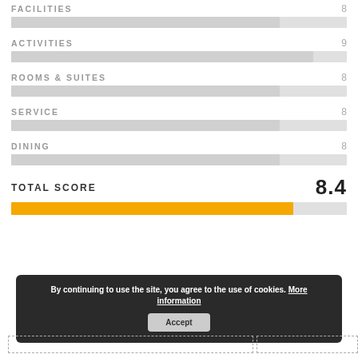[Figure (bar-chart): Category Scores]
By continuing to use the site, you agree to the use of cookies. More information
Accept